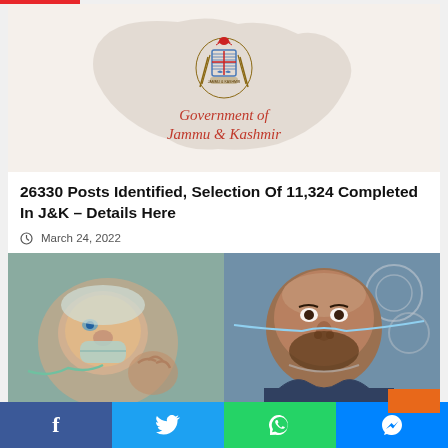[Figure (illustration): Government of Jammu & Kashmir official seal/logo on a beige background with a map silhouette of J&K region, with text 'Government of Jammu & Kashmir' in red italic script below the seal]
26330 Posts Identified, Selection Of 11,324 Completed In J&K – Details Here
March 24, 2022
[Figure (photo): Two side-by-side photos: left shows a baby/infant with medical equipment, right shows a man with oxygen tubes/medical equipment]
f  (Facebook)  | (Twitter bird)  | (WhatsApp)  | (Messenger)